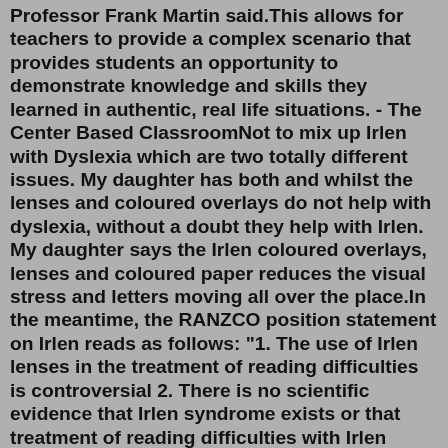Professor Frank Martin said.This allows for teachers to provide a complex scenario that provides students an opportunity to demonstrate knowledge and skills they learned in authentic, real life situations. - The Center Based ClassroomNot to mix up Irlen with Dyslexia which are two totally different issues. My daughter has both and whilst the lenses and coloured overlays do not help with dyslexia, without a doubt they help with Irlen. My daughter says the Irlen coloured overlays, lenses and coloured paper reduces the visual stress and letters moving all over the place.In the meantime, the RANZCO position statement on Irlen reads as follows: "1. The use of Irlen lenses in the treatment of reading difficulties is controversial 2. There is no scientific evidence that Irlen syndrome exists or that treatment of reading difficulties with Irlen lenses work 3.The Irlen Syndrome Foundation announces the launch of its 100 in 100 Campaign, raising funds over the next 100 days to train approximately 100 new Irlen screeners for schools and out in the   That said, Irlen Syndrome